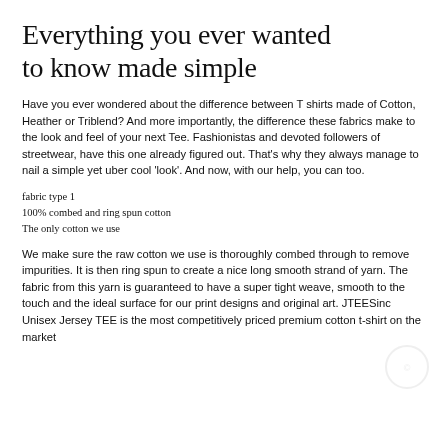Everything you ever wanted to know made simple
Have you ever wondered about the difference between T shirts made of Cotton, Heather or Triblend? And more importantly, the difference these fabrics make to the look and feel of your next Tee. Fashionistas and devoted followers of streetwear, have this one already figured out. That's why they always manage to nail a simple yet uber cool 'look'. And now, with our help, you can too.
fabric type 1
100% combed and ring spun cotton
The only cotton we use
We make sure the raw cotton we use is thoroughly combed through to remove impurities. It is then ring spun to create a nice long smooth strand of yarn. The fabric from this yarn is guaranteed to have a super tight weave, smooth to the touch and the ideal surface for our print designs and original art. JTEESinc Unisex Jersey TEE is the most competitively priced premium cotton t-shirt on the market